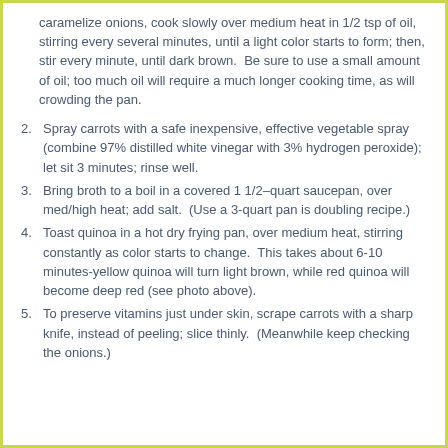caramelize onions, cook slowly over medium heat in 1/2 tsp of oil, stirring every several minutes, until a light color starts to form; then, stir every minute, until dark brown.  Be sure to use a small amount of oil; too much oil will require a much longer cooking time, as will crowding the pan.
2. Spray carrots with a safe inexpensive, effective vegetable spray (combine 97% distilled white vinegar with 3% hydrogen peroxide); let sit 3 minutes; rinse well.
3. Bring broth to a boil in a covered 1 1/2–quart saucepan, over med/high heat; add salt.  (Use a 3-quart pan is doubling recipe.)
4. Toast quinoa in a hot dry frying pan, over medium heat, stirring constantly as color starts to change.  This takes about 6-10 minutes-yellow quinoa will turn light brown, while red quinoa will become deep red (see photo above).
5. To preserve vitamins just under skin, scrape carrots with a sharp knife, instead of peeling; slice thinly.  (Meanwhile keep checking the onions.)